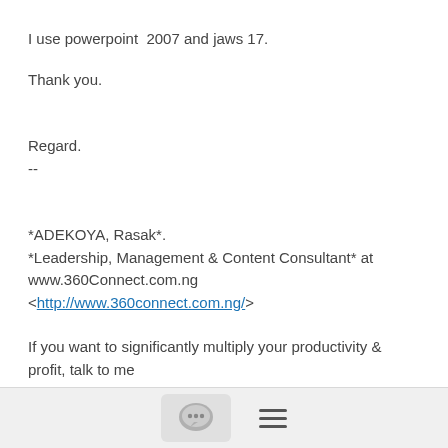I use powerpoint  2007 and jaws 17.
Thank you.
Regard.
--
*ADEKOYA, Rasak*.
*Leadership, Management & Content Consultant* at www.360Connect.com.ng
<http://www.360connect.com.ng/>
If you want to significantly multiply your productivity & profit, talk to me
+2348034829045
[Figure (other): Footer navigation bar with chat bubble icon button and hamburger menu icon]